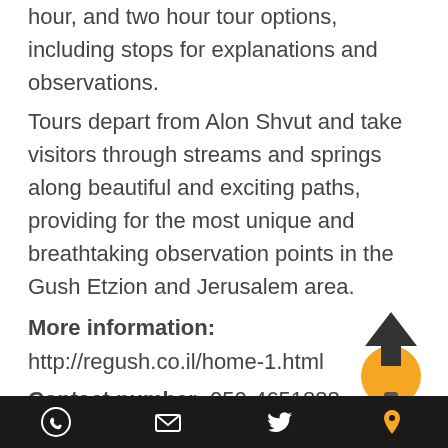hour, and two hour tour options, including stops for explanations and observations.
Tours depart from Alon Shvut and take visitors through streams and springs along beautiful and exciting paths, providing for the most unique and breathtaking observation points in the Gush Etzion and Jerusalem area.
More information: http://regush.co.il/home-1.html
Contact number: 050-4651888
Snir Water Hike
The Nahal Snir Water Hike, located in the Golan Heights, is an exciting and beautiful experience for all those that are interest in nature and in
WhatsApp | Email | Twitter | Location